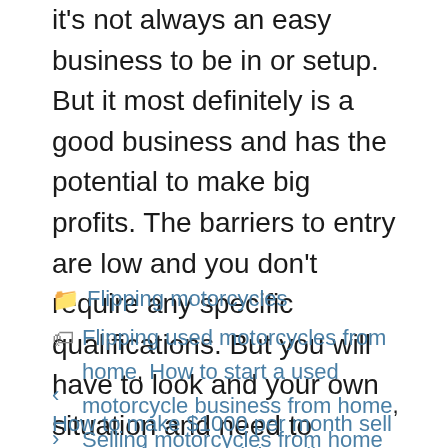it's not always an easy business to be in or setup. But it most definitely is a good business and has the potential to make big profits. The barriers to entry are low and you don't require any specific qualifications. But you will have to look and your own situation and need to decide whether this is the right strategy for you.
Categories: Flipping motorcycles
Tags: Flipping used motorcycles from home, How to start a used motorcycle business from home, Selling motorcycles from home
< How to make $1000 per month sell motorcycles on social media
> What qualifications do you need to be a